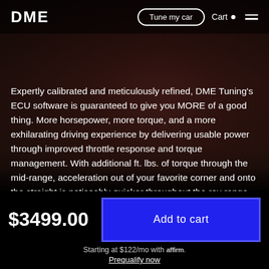DME | Tune my car | Cart
Expertly calibrated and meticulously refined, DME Tuning's ECU software is guaranteed to give you MORE of a good thing. More horsepower, more torque, and a more exhilarating driving experience by delivering usable power through improved throttle response and torque management. With additional ft. lbs. of torque through the mid-range, acceleration out of your favorite corner and onto the straight is noticeably quicker throughout the rev range. DME Tuning saves your stock/factory ECU settings so that you can revert your vehicle back to stock settings at any time.
$3499.00
Add to cart
Starting at $122/mo with affirm.
Prequalify now